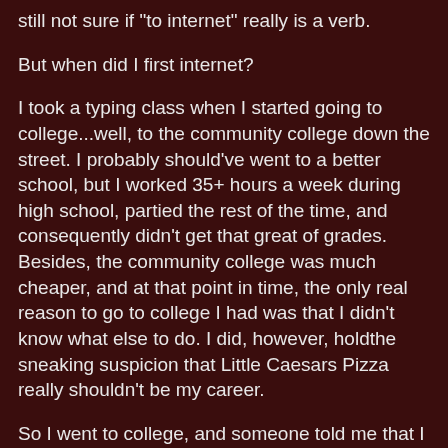still not sure if "to internet" really is a verb.
But when did I first internet?
I took a typing class when I started going to college...well, to the community college down the street. I probably should've went to a better school, but I worked 35+ hours a week during high school, partied the rest of the time, and consequently didn't get that great of grades. Besides, the community college was much cheaper, and at that point in time, the only real reason to go to college I had was that I didn't know what else to do. I did, however, holdthe sneaking suspicion that Little Caesars Pizza really shouldn't be my career.
So I went to college, and someone told me that I would have to do papers for higher education. I further realized that even if the profs would've accepted handwritten work, chances are they wouldn't be able to decipher my Sanskrit-esque scrawl. So I took a typing class, and it has paid dividends. I know people who've written their dissertation using "hunt and peck," but frankly, I don't know how they do it, as is, my